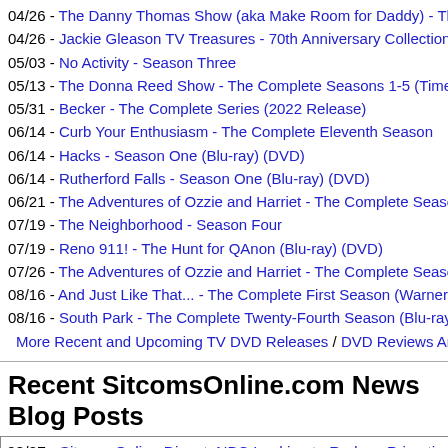04/26 - The Danny Thomas Show (aka Make Room for Daddy) - The Compl...
04/26 - Jackie Gleason TV Treasures - 70th Anniversary Collection (includi...
05/03 - No Activity - Season Three
05/13 - The Donna Reed Show - The Complete Seasons 1-5 (Time Life)
05/31 - Becker - The Complete Series (2022 Release)
06/14 - Curb Your Enthusiasm - The Complete Eleventh Season
06/14 - Hacks - Season One (Blu-ray) (DVD)
06/14 - Rutherford Falls - Season One (Blu-ray) (DVD)
06/21 - The Adventures of Ozzie and Harriet - The Complete Season One / S...
07/19 - The Neighborhood - Season Four
07/19 - Reno 911! - The Hunt for QAnon (Blu-ray) (DVD)
07/26 - The Adventures of Ozzie and Harriet - The Complete Season Three /...
08/16 - And Just Like That... - The Complete First Season (Warner Bros. - Ca...
08/16 - South Park - The Complete Twenty-Fourth Season (Blu-ray) (DVD)
More Recent and Upcoming TV DVD Releases / DVD Reviews Archive / Sitc...
Recent SitcomsOnline.com News Blog Posts
08/27 - SitcomsOnline Digest: NBC Looking to Reduce Primetime Hours; Co...
08/26 - A-List Stars Join Norman Lear 100th Birthday ABC Special; Joe Pes...
08/25 - Disney Renews The Villains of Valley View; Nick Kroll Gets Netflix Sp...
08/24 - Reelz Celebrates 50th Anniversary of M*A*S*H with New Special; Hi...
08/23 - NBC to Air Peacock Series as Promotional Airing; James Denton and...
08/22 - HBO Renews The Rehearsal for Season 2; Dan Levy Joins Sex Ed...